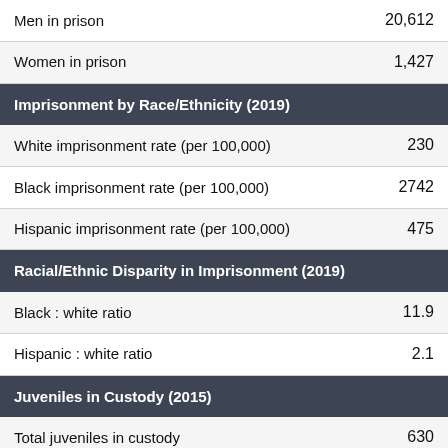| Category | Value |
| --- | --- |
| Men in prison | 20,612 |
| Women in prison | 1,427 |
| Imprisonment by Race/Ethnicity (2019) |  |
| White imprisonment rate (per 100,000) | 230 |
| Black imprisonment rate (per 100,000) | 2742 |
| Hispanic imprisonment rate (per 100,000) | 475 |
| Racial/Ethnic Disparity in Imprisonment (2019) |  |
| Black : white ratio | 11.9 |
| Hispanic : white ratio | 2.1 |
| Juveniles in Custody (2015) |  |
| Total juveniles in custody | 630 |
| Committed | 465 |
| Detained | 162 |